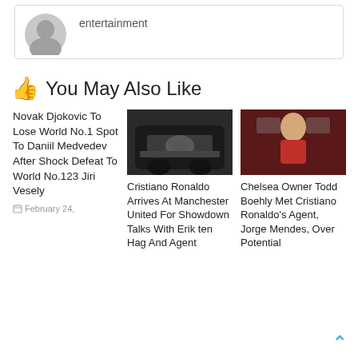[Figure (illustration): Gray placeholder avatar silhouette with 'entertainment' label to the right, inside a bordered card]
👍 You May Also Like
Novak Djokovic To Lose World No.1 Spot To Daniil Medvedev After Shock Defeat To World No.123 Jiri Vesely
February 24,
[Figure (photo): Cristiano Ronaldo arriving in a luxury black car]
Cristiano Ronaldo Arrives At Manchester United For Showdown Talks With Erik ten Hag And Agent
[Figure (photo): Cristiano Ronaldo celebrating in Manchester United red kit]
Chelsea Owner Todd Boehly Met Cristiano Ronaldo's Agent, Jorge Mendes, Over Potential